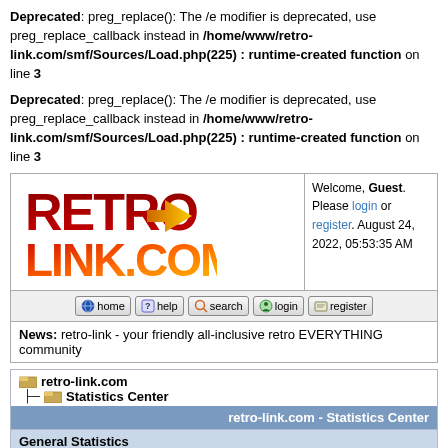Deprecated: preg_replace(): The /e modifier is deprecated, use preg_replace_callback instead in /home/www/retro-link.com/smf/Sources/Load.php(225) : runtime-created function on line 3
Deprecated: preg_replace(): The /e modifier is deprecated, use preg_replace_callback instead in /home/www/retro-link.com/smf/Sources/Load.php(225) : runtime-created function on line 3
[Figure (screenshot): Retro-Link.com website header with logo, navigation buttons (home, help, search, login, register), welcome message for Guest with login/register links, date August 24, 2022, 05:53:35 AM, and news bar]
retro-link.com > Statistics Center
| retro-link.com - Statistics Center |
| --- |
| General Statistics |
| Total Members: 1083 | Average registrat... |
General Statistics